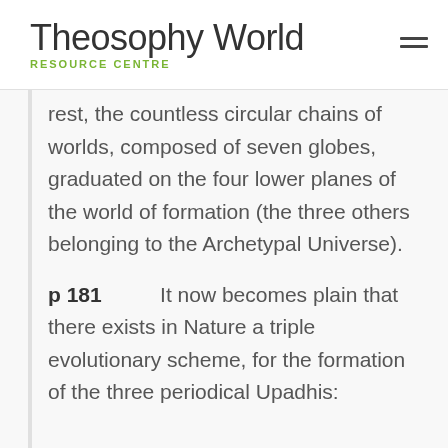Theosophy World RESOURCE CENTRE
rest, the countless circular chains of worlds, composed of seven globes, graduated on the four lower planes of the world of formation (the three others belonging to the Archetypal Universe).
p 181    It now becomes plain that there exists in Nature a triple evolutionary scheme, for the formation of the three periodical Upadhis: